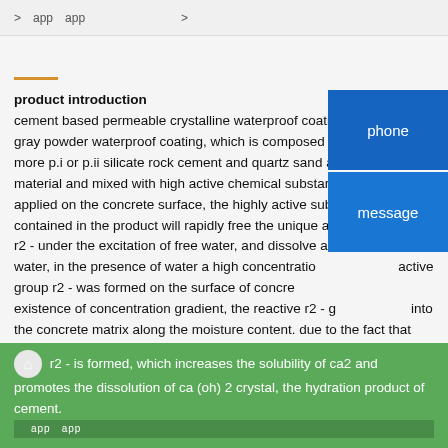>　app　app　　　　　　　　>
product introduction
cement based permeable crystalline waterproof coating gray powder waterproof coating, which is composed of more p.i or p.ii silicate rock cement and quartz sand as material and mixed with high active chemical substances. is applied on the concrete surface, the highly active substance contained in the product will rapidly free the unique active r2 - under the excitation of free water, and dissolve and enter the water, in the presence of water a high concentration of active group r2 - was formed on the surface of concrete. existence of concentration gradient, the reactive r2 - goes into the concrete matrix along the moisture content. due to the fact that there are a large number of hexagonal sheet ca (oh) 2 crystals in the hardened concrete paste, when the active r2 group meets the ca2 ions near the ca (oh) 2 crystal, the water-soluble complex ca2 - r2 - is formed, which increases the solubility of ca2 and promotes the dissolution of ca (oh) 2 crystal, the hydration product of cement.